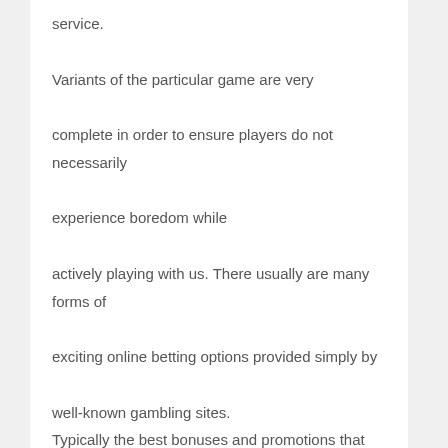service.

Variants of the particular game are very complete in order to ensure players do not necessarily experience boredom while actively playing with us. There usually are many forms of exciting online betting options provided simply by well-known gambling sites.

Typically the best bonuses and promotions that will give an individual more profit when playing with us.

You may stick to these bonuses and promos in an easy and complete, utter, absolute, wholehearted way!

All betting game products provided by Depobola are fully secure and get officially accredited by SBOBET and IBCBET.